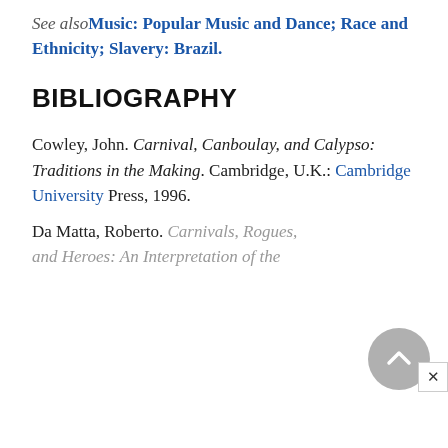See also Music: Popular Music and Dance; Race and Ethnicity; Slavery: Brazil.
BIBLIOGRAPHY
Cowley, John. Carnival, Canboulay, and Calypso: Traditions in the Making. Cambridge, U.K.: Cambridge University Press, 1996.
Da Matta, Roberto. Carnivals, Rogues, and Heroes: An Interpretation of the